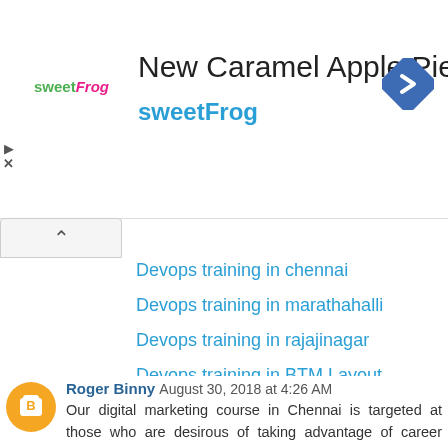[Figure (other): SweetFrog advertisement banner with logo, title 'New Caramel Apple Pie Swirl', brand name 'sweetFrog', navigation arrow icon, play and close controls, and collapse button with up caret]
Devops training in chennai
Devops training in marathahalli
Devops training in rajajinagar
Devops training in BTM Layout
Reply
Roger Binny August 30, 2018 at 4:26 AM
Our digital marketing course in Chennai is targeted at those who are desirous of taking advantage of career opportunities in digital marketing. Marketing professionals who are presently using traditional marketing to meet their